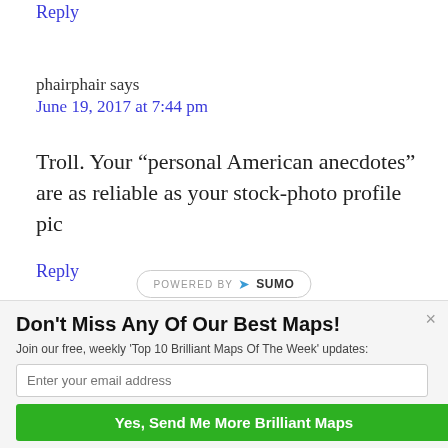Reply
phairphair says
June 19, 2017 at 7:44 pm
Troll. Your “personal American anecdotes” are as reliable as your stock-photo profile pic
Reply
[Figure (logo): Powered by SUMO badge]
Don’t Miss Any Of Our Best Maps!
Join our free, weekly 'Top 10 Brilliant Maps Of The Week' updates:
Enter your email address
Yes, Send Me More Brilliant Maps